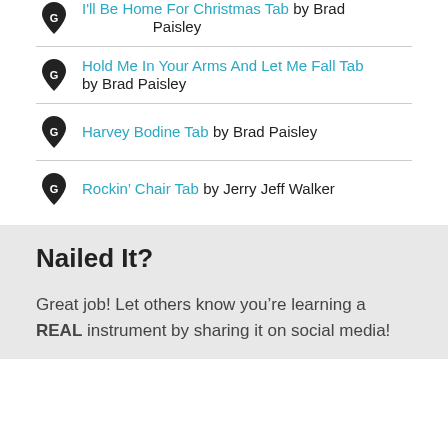I'll Be Home For Christmas Tab by Brad Paisley
Hold Me In Your Arms And Let Me Fall Tab by Brad Paisley
Harvey Bodine Tab by Brad Paisley
Rockin’ Chair Tab by Jerry Jeff Walker
Nailed It?
Great job! Let others know you’re learning a REAL instrument by sharing it on social media!